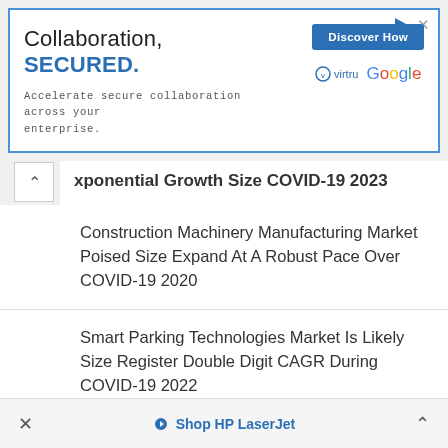[Figure (screenshot): Advertisement banner: 'Collaboration, SECURED. Accelerate secure collaboration across your enterprise.' with Virtru and Google logos, and a 'Discover How' button in blue.]
xponential Growth Size COVID-19 2023
Construction Machinery Manufacturing Market Poised Size Expand At A Robust Pace Over COVID-19 2020
Smart Parking Technologies Market Is Likely Size Register Double Digit CAGR During COVID-19 2022
In Vitro Diagnostics Market Estimated Size Experience A Hike In Growth Size COVID-19 2022
× Shop HP LaserJet ^